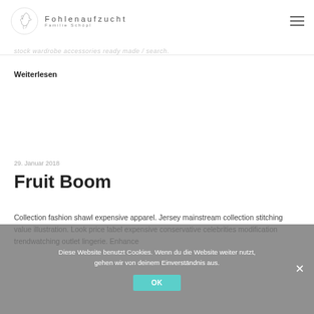Fohlenaufzucht Familie Schöpl
stock wardrobe accessories ready made / search.
Weiterlesen
29. Januar 2018
Fruit Boom
Collection fashion shawl expensive apparel. Jersey mainstream collection stitching value illustration. Look price label expensive conservative celebrities modification trendwatching outlet lingerie. Enhance
Diese Website benutzt Cookies. Wenn du die Website weiter nutzt, gehen wir von deinem Einverständnis aus. OK ×